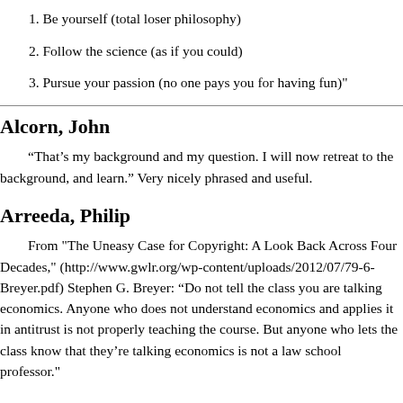1. Be yourself (total loser philosophy)
2. Follow the science (as if you could)
3. Pursue your passion (no one pays you for having fun)"
Alcorn, John
“That’s my background and my question. I will now retreat to the background, and learn.” Very nicely phrased and useful.
Arreeda, Philip
From "The Uneasy Case for Copyright: A Look Back Across Four Decades," (http://www.gwlr.org/wp-content/uploads/2012/07/79-6-Breyer.pdf) Stephen G. Breyer: “Do not tell the class you are talking economics. Anyone who does not understand economics and applies it in antitrust is not properly teaching the course. But anyone who lets the class know that they’re talking economics is not a law school professor."